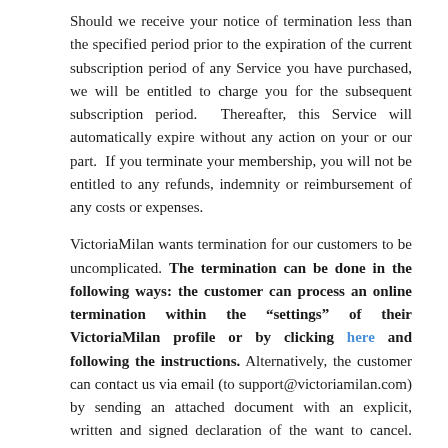Should we receive your notice of termination less than the specified period prior to the expiration of the current subscription period of any Service you have purchased, we will be entitled to charge you for the subsequent subscription period.  Thereafter, this Service will automatically expire without any action on your or our part.  If you terminate your membership, you will not be entitled to any refunds, indemnity or reimbursement of any costs or expenses.
VictoriaMilan wants termination for our customers to be uncomplicated. The termination can be done in the following ways: the customer can process an online termination within the "settings" of their VictoriaMilan profile or by clicking here and following the instructions. Alternatively, the customer can contact us via email (to support@victoriamilan.com) by sending an attached document with an explicit, written and signed declaration of the want to cancel. This must be done from the customer's registered email address and the customer must always specify their full name, the VictoriaMilan country that they registered with, the email address that they currently have registered with VictoriaMilan in a legible manner using BLOCK CAPITALS.
As far as a VictoriaMilan iOS App/Android App is available,